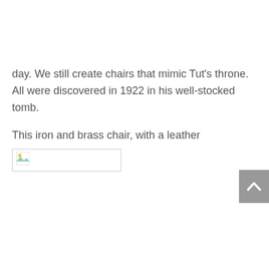day. We still create chairs that mimic Tut's throne. All were discovered in 1922 in his well-stocked tomb.
This iron and brass chair, with a leather
[Figure (photo): Broken/missing image placeholder showing a small image icon with a white rectangle border]
seat and back, is a 19th century design taken from King Tut's throne. This is still being made today, and with many variations. It was popular in the French Directoire period under Napoleon.
Do you have a throne? Would you like to have a